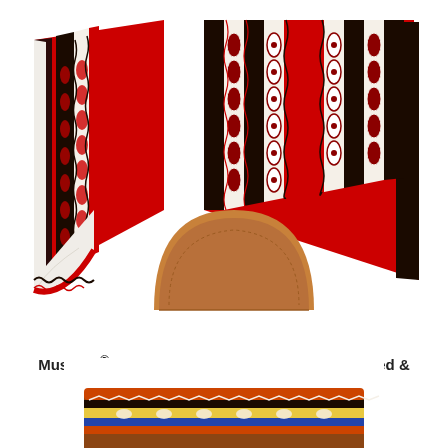[Figure (photo): A red and black Mustang Canyon Wool Saddle Pad with decorative woven Southwestern pattern in red, black, and white/cream. The pad is shown folded open with a tan/brown leather cutout piece visible at the center. The underside shows white wool lining.]
Mustang® Canyon Wool Saddle Pad 32" x 32" Red & Black
Our Price: $155.00 Inc GST
[Figure (photo): Bottom portion of a second saddle pad product with a multicolored Southwestern/Aztec pattern, partially visible at the bottom of the page.]